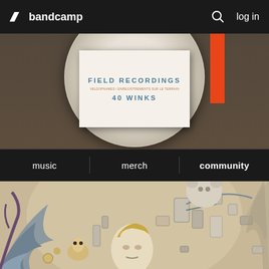bandcamp  log in
[Figure (photo): Bandcamp website screenshot showing header with logo, hero section with vinyl record sleeve reading 'FIELD RECORDINGS / VELDOPNAMES / ENREGISTREMENTS SUR LE TERRAIN / 40 WINKS' against a library background with an orange bookmark, navigation bar with music, merch, community links, and album artwork illustration below.]
FIELD RECORDINGS
VELDOPNAMES / ENREGISTREMENTS SUR LE TERRAIN
40 WINKS
music
merch
community